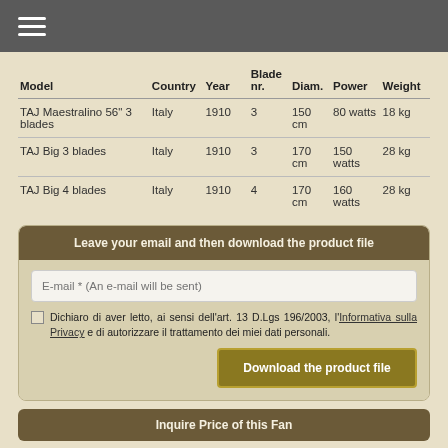≡
| Model | Country | Year | Blade nr. | Diam. | Power | Weight |
| --- | --- | --- | --- | --- | --- | --- |
| TAJ Maestralino 56" 3 blades | Italy | 1910 | 3 | 150 cm | 80 watts | 18 kg |
| TAJ Big 3 blades | Italy | 1910 | 3 | 170 cm | 150 watts | 28 kg |
| TAJ Big 4 blades | Italy | 1910 | 4 | 170 cm | 160 watts | 28 kg |
Leave your email and then download the product file
E-mail * (An e-mail will be sent)
Dichiaro di aver letto, ai sensi dell'art. 13 D.Lgs 196/2003, l'Informativa sulla Privacy e di autorizzare il trattamento dei miei dati personali.
Download the product file
Inquire Price of this Fan